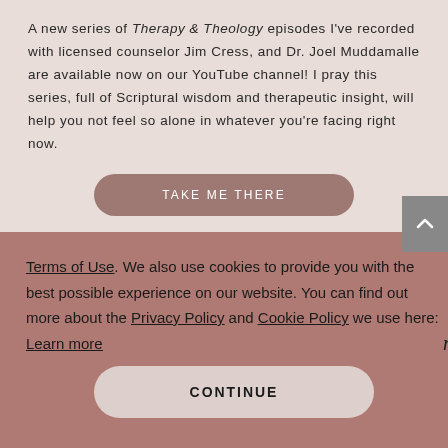A new series of Therapy & Theology episodes I've recorded with licensed counselor Jim Cress, and Dr. Joel Muddamalle are available now on our YouTube channel! I pray this series, full of Scriptural wisdom and therapeutic insight, will help you not feel so alone in whatever you're facing right now.
TAKE ME THERE
[Figure (logo): Lysa TerKeurst logo with leaf/wheat illustration]
Terms of Use. We also use cookies to provide you with the best possible experience on our website. You can find out more about the Privacy Policy and Cookie Policy we use here: Learn more
CONTINUE
to have that key fob with you